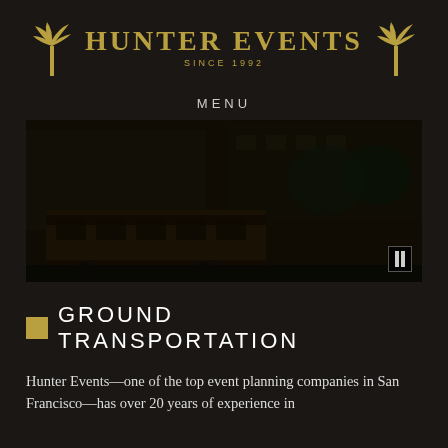HUNTER EVENTS SINCE 1992
MENU
[Figure (photo): Dark photograph showing a street scene with a cable car/tram in San Francisco, buildings and trees visible in background]
GROUND TRANSPORTATION
Hunter Events—one of the top event planning companies in San Francisco—has over 20 years of experience in